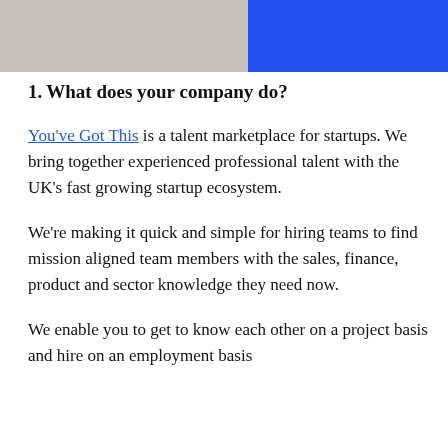[Figure (photo): Top portion of page showing two images side by side: a grey/beige photo on the left and a solid blue rectangle on the right.]
1. What does your company do?
You've Got This is a talent marketplace for startups. We bring together experienced professional talent with the UK's fast growing startup ecosystem.
We're making it quick and simple for hiring teams to find mission aligned team members with the sales, finance, product and sector knowledge they need now.
We enable you to get to know each other on a project basis and hire on an employment basis